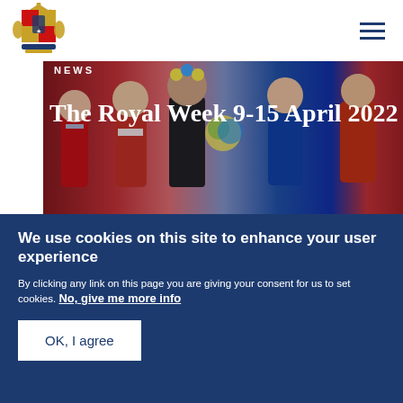[Figure (logo): Royal coat of arms / crest logo in blue and gold]
[Figure (photo): Group of children in formal attire holding flowers at a Royal event, with adults in uniform]
NEWS
The Royal Week 9-15 April 2022
Published 15 April 2022
[Figure (photo): Dark night scene with bokeh lights, possibly a garden or outdoor event]
We use cookies on this site to enhance your user experience
By clicking any link on this page you are giving your consent for us to set cookies. No, give me more info
OK, I agree